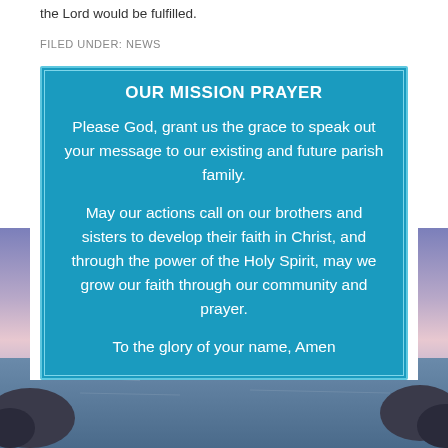the Lord would be fulfilled.
FILED UNDER: NEWS
OUR MISSION PRAYER
Please God, grant us the grace to speak out your message to our existing and future parish family.
May our actions call on our brothers and sisters to develop their faith in Christ, and through the power of the Holy Spirit, may we grow our faith through our community and prayer.
To the glory of your name, Amen